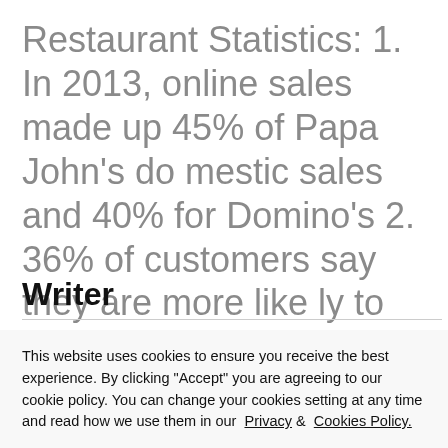Restaurant Statistics: 1. In 2013, online sales made up 45% of Papa John's domestic sales and 40% for Domino's 2. 36% of customers say they are more likely to use technology options in restaurants tha...
Writer
This website uses cookies to ensure you receive the best experience. By clicking "Accept" you are agreeing to our cookie policy. You can change your cookies setting at any time and read how we use them in our Privacy & Cookies Policy.